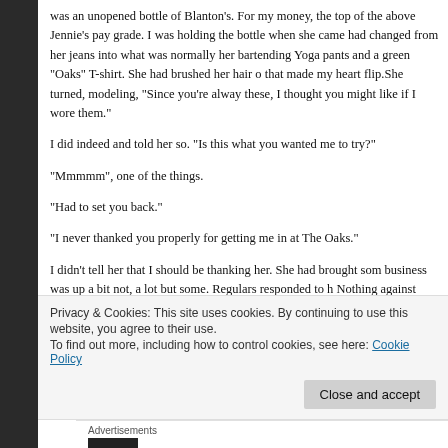was an unopened bottle of Blanton’s. For my money, the top of the above Jennie’s pay grade. I was holding the bottle when she came had changed from her jeans into what was normally her bartending Yoga pants and a green “Oaks” T-shirt. She had brushed her hair o that made my heart flip.She turned, modeling, “Since you’re alway these, I thought you might like if I wore them.”
I did indeed and told her so. “Is this what you wanted me to try?”
“Mmmmm”, one of the things.
“Had to set you back.”
“I never thanked you properly for getting me in at The Oaks.”
I didn’t tell her that I should be thanking her. She had brought som business was up a bit not, a lot but some. Regulars responded to h Nothing against Jolene, but “chill” was her thing. She was very goo
Privacy & Cookies: This site uses cookies. By continuing to use this website, you agree to their use.
To find out more, including how to control cookies, see here: Cookie Policy
Close and accept
Advertisements